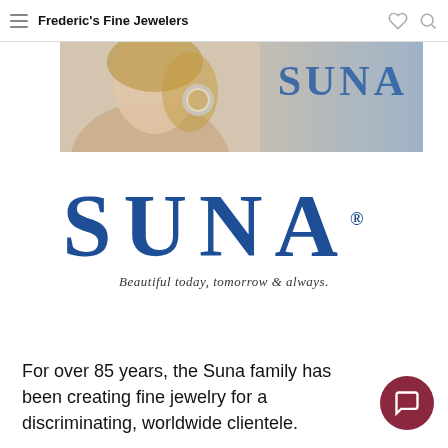Frederic's Fine Jewelers
[Figure (photo): Banner image of a woman wearing large hoop earrings with the SUNA brand name in blue text on the right side]
[Figure (logo): SUNA logo in large bold dark blue serif font with registered trademark symbol, and tagline 'Beautiful today, tomorrow & always.']
For over 85 years, the Suna family has been creating fine jewelry for a discriminating, worldwide clientele.